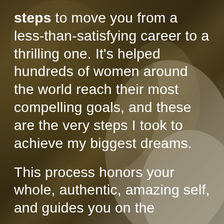[Figure (photo): Blurred background photo with warm brown and olive tones, showing a person out of focus. Text overlay in white.]
steps to move you from a less-than-satisfying career to a thrilling one. It's helped hundreds of women around the world reach their most compelling goals, and these are the very steps I took to achieve my biggest dreams.
This process honors your whole, authentic, amazing self, and guides you on the